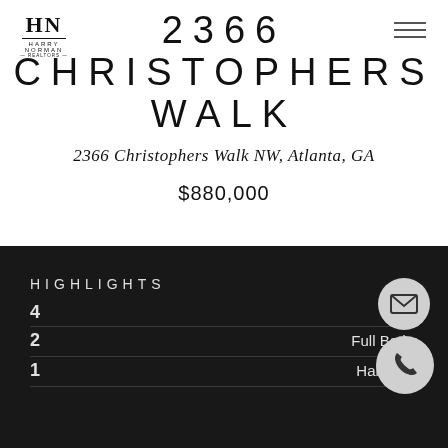[Figure (logo): Harry Norman Realtors HN logo]
2366 CHRISTOPHERS WALK
2366 Christophers Walk NW, Atlanta, GA
$880,000
HIGHLIGHTS
4   Beds
2   Full Baths
1   Half Bath